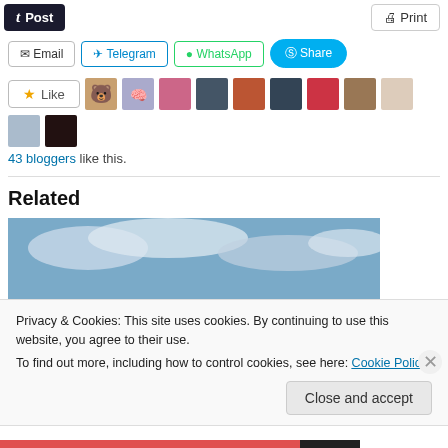[Figure (screenshot): Social sharing buttons row: Post (Tumblr), Print button, Email, Telegram, WhatsApp, Share (Skype)]
[Figure (screenshot): Like button with star icon, followed by 12 blogger avatar thumbnails]
43 bloggers like this.
Related
[Figure (photo): A person standing on a beach looking out at the ocean under a cloudy sky]
Privacy & Cookies: This site uses cookies. By continuing to use this website, you agree to their use.
To find out more, including how to control cookies, see here: Cookie Policy
Close and accept